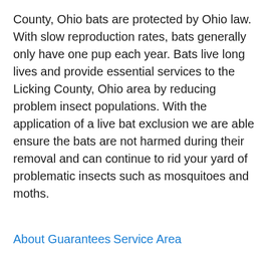County, Ohio bats are protected by Ohio law. With slow reproduction rates, bats generally only have one pup each year. Bats live long lives and provide essential services to the Licking County, Ohio area by reducing problem insect populations. With the application of a live bat exclusion we are able ensure the bats are not harmed during their removal and can continue to rid your yard of problematic insects such as mosquitoes and moths.
About Guarantees
Service Area